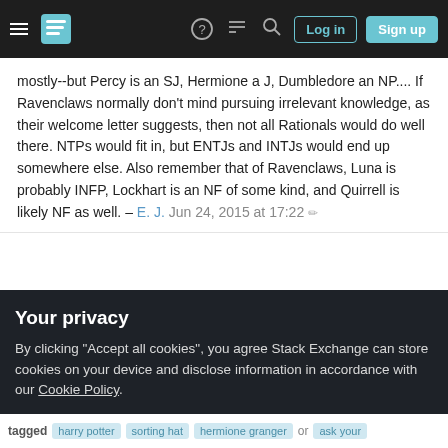Stack Exchange navigation bar with login and sign up buttons
mostly--but Percy is an SJ, Hermione a J, Dumbledore an NP.... If Ravenclaws normally don't mind pursuing irrelevant knowledge, as their welcome letter suggests, then not all Rationals would do well there. NTPs would fit in, but ENTJs and INTJs would end up somewhere else. Also remember that of Ravenclaws, Luna is probably INFP, Lockhart is an NF of some kind, and Quirrell is likely NF as well. – E. J. Jun 24, 2015 at 17:22
Add a comment
Highly active question. Earn 10 reputation (not counting the
Your privacy
By clicking "Accept all cookies", you agree Stack Exchange can store cookies on your device and disclose information in accordance with our Cookie Policy.
tagged harry potter sorting hat hermione granger or ask your